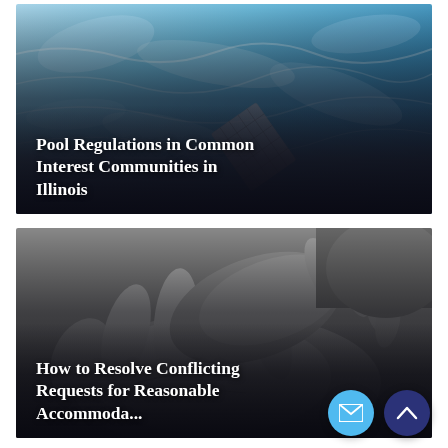[Figure (photo): Swimming pool water surface with blue rippling light and a pool ladder/drain visible, used as a thumbnail image for an article about pool regulations.]
Pool Regulations in Common Interest Communities in Illinois
[Figure (photo): Black and white close-up photograph of two hands clasped together, used as a thumbnail for an article about resolving conflicting requests for reasonable accommodations.]
How to Resolve Conflicting Requests for Reasonable Accommoda...